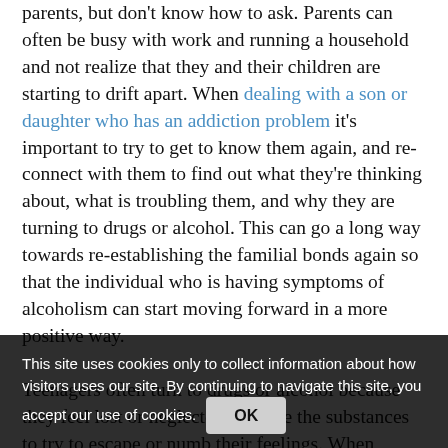parents, but don't know how to ask. Parents can often be busy with work and running a household and not realize that they and their children are starting to drift apart. When dealing with a son or daughter who has an addiction problem it's important to try to get to know them again, and re-connect with them to find out what they're thinking about, what is troubling them, and why they are turning to drugs or alcohol. This can go a long way towards re-establishing the familial bonds again so that the individual who is having symptoms of alcoholism can start moving forward in a more positive way.

Teenagers often turn to drugs or alcohol because they feel lost or neglected, and use the substances to try to escape or numb their feelings. When parents are trying to deal with a teenager who has these issues, it's important for them to first research what causes addiction, self-reflect on family issues that may have facilitated the addiction, and to reach out to their children in a non-accusatory, open and start...
This site uses cookies only to collect information about how visitors uses our site. By continuing to navigate this site, you accept our use of cookies. OK